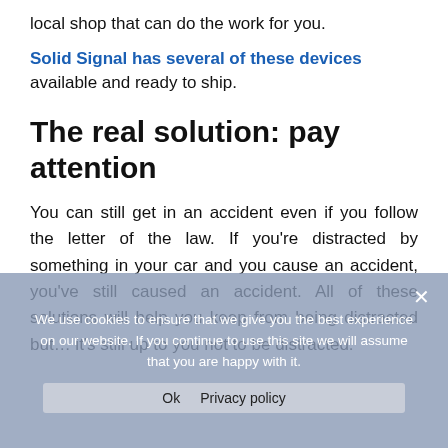local shop that can do the work for you.
Solid Signal has several of these devices available and ready to ship.
The real solution: pay attention
You can still get in an accident even if you follow the letter of the law. If you’re distracted by something in your car and you cause an accident, you’ve still caused an accident. All of these solutions will help you keep from being distracted but… it’s still up to you not to be distracted.
We use cookies to ensure that we give you the best experience on our website. If you continue to use this site we will assume that you are happy with it.
Ok   Privacy policy